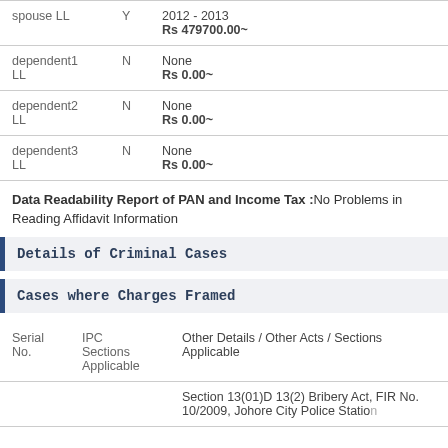| Relation | Y/N | Value |
| --- | --- | --- |
| spouse LL | Y | 2012 - 2013
Rs 479700.00~ |
| dependent1 LL | N | None
Rs 0.00~ |
| dependent2 LL | N | None
Rs 0.00~ |
| dependent3 LL | N | None
Rs 0.00~ |
Data Readability Report of PAN and Income Tax :No Problems in Reading Affidavit Information
Details of Criminal Cases
Cases where Charges Framed
| Serial No. | IPC Sections Applicable | Other Details / Other Acts / Sections Applicable |
| --- | --- | --- |
|  |  | Section 13(01)D 13(2) Bribery Act, FIR No. 10/2009, Johore City Police Station |